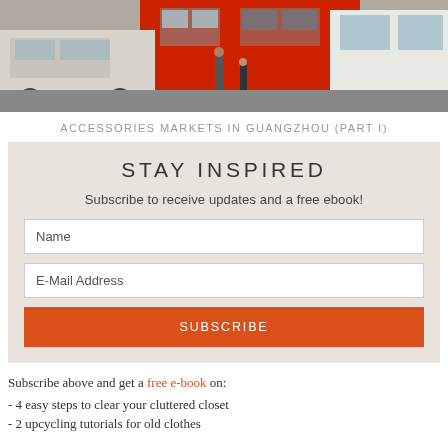[Figure (photo): Street scene showing vehicles and pedestrians in Guangzhou]
ACCESSORIES MARKETS IN GUANGZHOU (PART I)
STAY INSPIRED
Subscribe to receive updates and a free ebook!
Name
E-Mail Address
SUBSCRIBE
Subscribe above and get a free e-book on:
- 4 easy steps to clear your cluttered closet
- 2 upcycling tutorials for old clothes